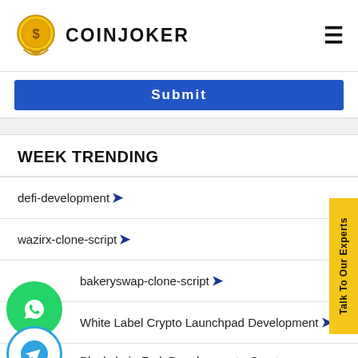COINJOKER
Submit
WEEK TRENDING
defi-development
wazirx-clone-script
bakeryswap-clone-script
White Label Crypto Launchpad Development
Blockchain Fork Development - Create, Develop, and Launch Your Favored Blockchain
[Figure (logo): WhatsApp circle button (green)]
[Figure (logo): Telegram circle button (blue outline)]
[Figure (logo): Skype circle button (light blue outline)]
Talk To Our Experts